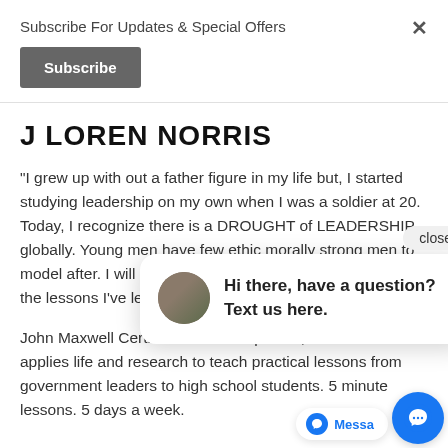Subscribe For Updates & Special Offers
Subscribe
J LOREN NORRIS
"I grew up with out a father figure in my life but, I started studying leadership on my own when I was a soldier at 20. Today, I recognize there is a DROUGHT of LEADERSHIP globally. Young men have few ethic morally strong men to model after. I will do everything in my power to sho and the lessons grandsons."
John Maxwell Certified Coach & Speaker, J Loren N applies life and research to teach pract lessons from government leaders to high school students. 5 minute lessons. 5 days a week.
[Figure (screenshot): Chat popup with avatar, close button, and message: Hi there, have a question? Text us here.]